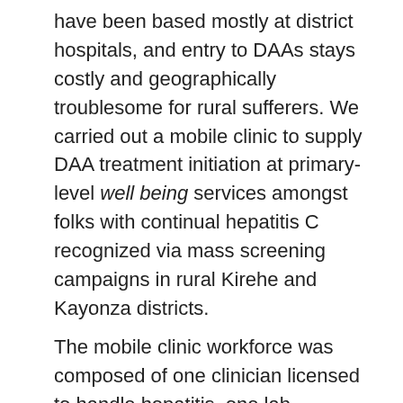have been based mostly at district hospitals, and entry to DAAs stays costly and geographically troublesome for rural sufferers. We carried out a mobile clinic to supply DAA treatment initiation at primary-level well being services amongst folks with continual hepatitis C recognized via mass screening campaigns in rural Kirehe and Kayonza districts. The mobile clinic workforce was composed of one clinician licensed to handle hepatitis, one lab technician, and one driver. Eligible sufferers acquired same-day medical consultations, counselling, laboratory exams and DAA initiation. Using medical databases, registers, and program data, we in contrast the quantity of sufferers who initiated DAA treatment earlier than and in the course of the mobile clinic marketing campaign. We assessed linkage to